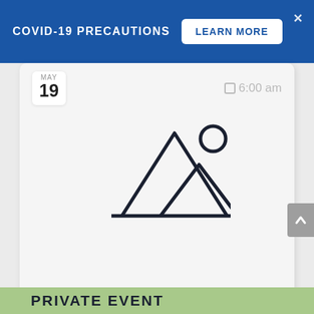COVID-19 PRECAUTIONS   LEARN MORE
MAY
19
□ 6:00 am
[Figure (illustration): Image placeholder icon: two mountain triangles outline with a circle (sun) in the upper right, all in dark navy outline on light gray background]
PRIVATE EVENT